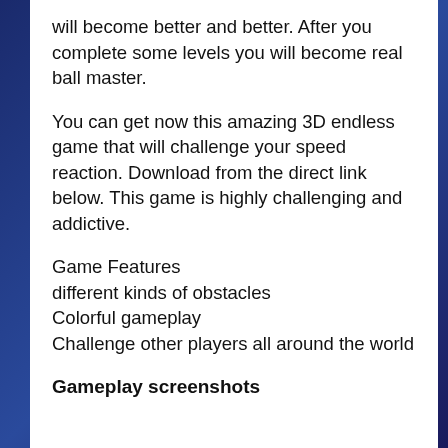will become better and better. After you complete some levels you will become real ball master.
You can get now this amazing 3D endless game that will challenge your speed reaction. Download from the direct link below. This game is highly challenging and addictive.
Game Features
different kinds of obstacles
Colorful gameplay
Challenge other players all around the world
Gameplay screenshots